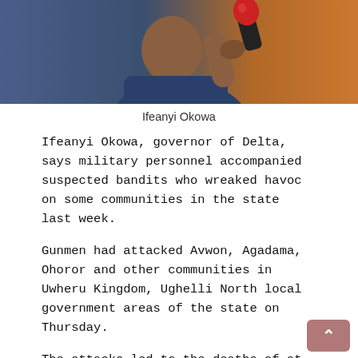[Figure (photo): Photo of Ifeanyi Okowa holding a red microphone, wearing a blue shirt, with an orange/warm background]
Ifeanyi Okowa
Ifeanyi Okowa, governor of Delta, says military personnel accompanied suspected bandits who wreaked havoc on some communities in the state last week.
Gunmen had attacked Avwon, Agadama, Ohoror and other communities in Uwheru Kingdom, Ughelli North local government areas of the state on Thursday.
The attacks led to the deaths of at least eight persons while several others sustained injuries.